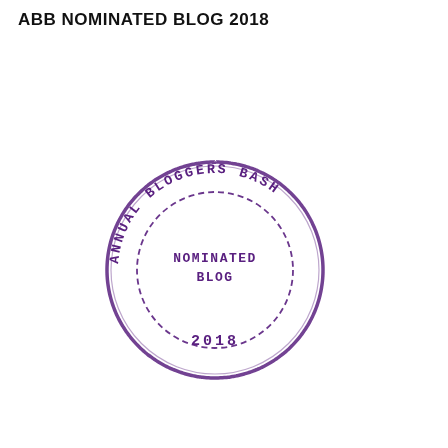ABB NOMINATED BLOG 2018
[Figure (illustration): Circular stamp/badge in purple reading 'ANNUAL BLOGGERS BASH' around the outside, with 'NOMINATED BLOG' in the center and '2018' at the bottom. The stamp has a dashed inner circle and a rough outer border typical of an ink stamp.]